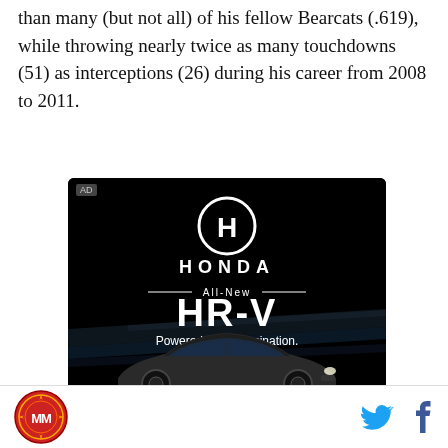than many (but not all) of his fellow Bearcats (.619), while throwing nearly twice as many touchdowns (51) as interceptions (26) during his career from 2008 to 2011.
[Figure (other): Honda HR-V advertisement with dark background showing the Honda logo, 'All-New HR-V' text, 'Powered by determination.' tagline, and a car image at the bottom. Labeled 'AD' in top-left corner.]
Site logo with Twitter and Facebook social icons